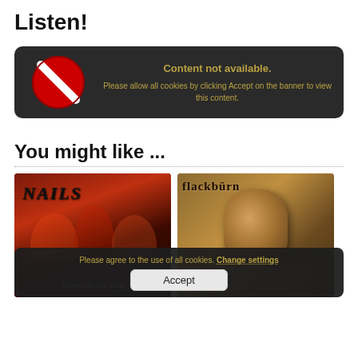Listen!
[Figure (screenshot): Content not available box with red no-sign icon on dark background. Text reads: 'Content not available. Please allow all cookies by clicking Accept on the banner to view this content.']
You might like ...
[Figure (photo): Nails - Abandon All Life album cover: dark red/black metal imagery with band name in gothic lettering]
[Figure (photo): Blackburn album cover: golden-brown toned image with fist and gothic band name lettering]
Please agree to the use of all cookies. Change settings
Accept